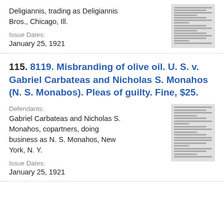Deligiannis, trading as Deligiannis Bros., Chicago, Ill.
Issue Dates:
January 25, 1921
115. 8119. Misbranding of olive oil. U. S. v. Gabriel Carbateas and Nicholas S. Monahos (N. S. Monabos). Pleas of guilty. Fine, $25.
Defendants:
Gabriel Carbateas and Nicholas S. Monahos, copartners, doing business as N. S. Monahos, New York, N. Y.
Issue Dates:
January 25, 1921